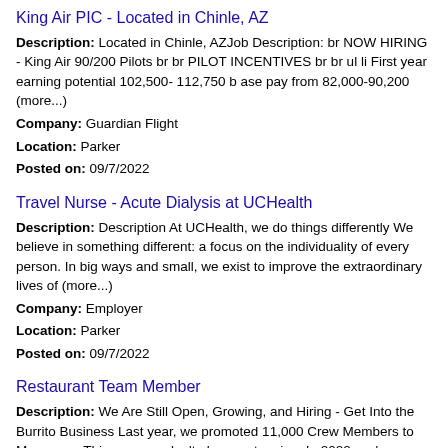King Air PIC - Located in Chinle, AZ
Description: Located in Chinle, AZJob Description: br NOW HIRING - King Air 90/200 Pilots br br PILOT INCENTIVES br br ul li First year earning potential 102,500- 112,750 b ase pay from 82,000-90,200 (more...) Company: Guardian Flight Location: Parker Posted on: 09/7/2022
Travel Nurse - Acute Dialysis at UCHealth
Description: Description At UCHealth, we do things differently We believe in something different: a focus on the individuality of every person. In big ways and small, we exist to improve the extraordinary lives of (more...) Company: Employer Location: Parker Posted on: 09/7/2022
Restaurant Team Member
Description: We Are Still Open, Growing, and Hiring - Get Into the Burrito Business Last year, we promoted 11,000 Crew Members to Managers. This year, we don't plan on stopping. In 2022, we're adding 000 new restaurants (more...)